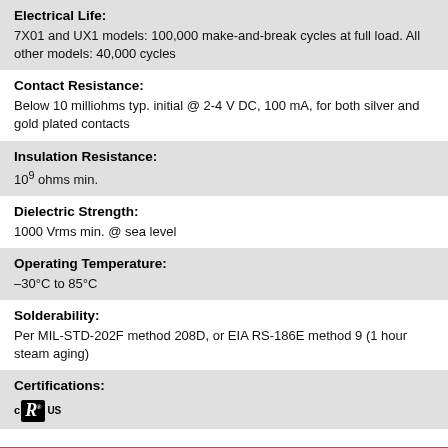Electrical Life: 7X01 and UX1 models: 100,000 make-and-break cycles at full load. All other models: 40,000 cycles
Contact Resistance: Below 10 milliohms typ. initial @ 2-4 V DC, 100 mA, for both silver and gold plated contacts
Insulation Resistance: 10⁹ ohms min.
Dielectric Strength: 1000 Vrms min. @ sea level
Operating Temperature: –30°C to 85°C
Solderability: Per MIL-STD-202F method 208D, or EIA RS-186E method 9 (1 hour steam aging)
Certifications: cULus
7108J2V4BE2